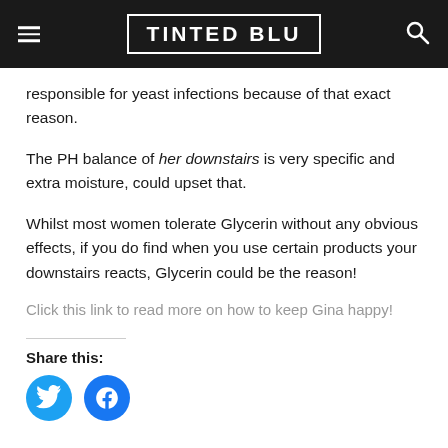TINTED BLU
responsible for yeast infections because of that exact reason.
The PH balance of her downstairs is very specific and extra moisture, could upset that.
Whilst most women tolerate Glycerin without any obvious effects, if you do find when you use certain products your downstairs reacts, Glycerin could be the reason!
Click this link to read more on how to keep Gina happy!
Share this: